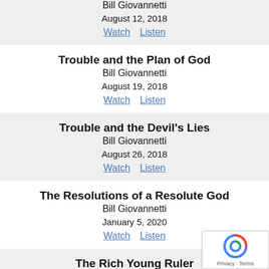Bill Giovannetti
August 12, 2018
Watch  Listen
Trouble and the Plan of God
Bill Giovannetti
August 19, 2018
Watch  Listen
Trouble and the Devil's Lies
Bill Giovannetti
August 26, 2018
Watch  Listen
The Resolutions of a Resolute God
Bill Giovannetti
January 5, 2020
Watch  Listen
The Rich Young Ruler
Todd Skinner
February 2, 2020